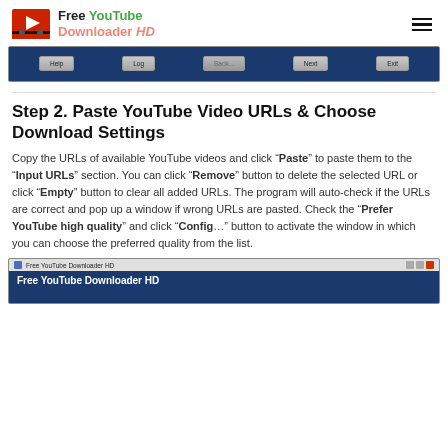Free YouTube Downloader HD
[Figure (screenshot): Screenshot of Free YouTube Downloader HD software navigation bar with Help, Log, Back..., Next, and Exit buttons on a dark blue background]
Step 2. Paste YouTube Video URLs & Choose Download Settings
Copy the URLs of available YouTube videos and click “Paste” to paste them to the “Input URLs” section. You can click “Remove” button to delete the selected URL or click “Empty” button to clear all added URLs. The program will auto-check if the URLs are correct and pop up a window if wrong URLs are pasted. Check the “Prefer YouTube high quality” and click “Config…” button to activate the window in which you can choose the preferred quality from the list.
[Figure (screenshot): Screenshot of Free YouTube Downloader HD application window showing the program title bar and beginning of its interface]